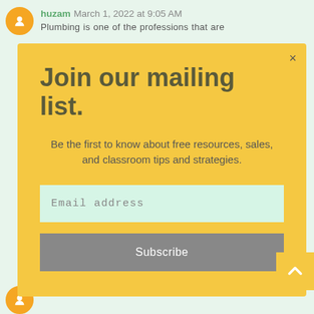huzam March 1, 2022 at 9:05 AM
Plumbing is one of the professions that are
Join our mailing list.
Be the first to know about free resources, sales, and classroom tips and strategies.
Email address
Subscribe
Stark Company March 2, 2022 at 12:22 AM